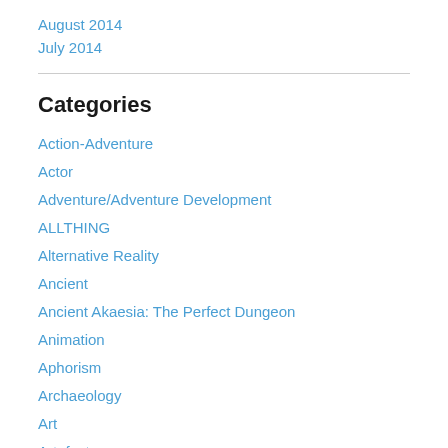August 2014
July 2014
Categories
Action-Adventure
Actor
Adventure/Adventure Development
ALLTHING
Alternative Reality
Ancient
Ancient Akaesia: The Perfect Dungeon
Animation
Aphorism
Archaeology
Art
Artefacts
Article
Avocation/Hobby